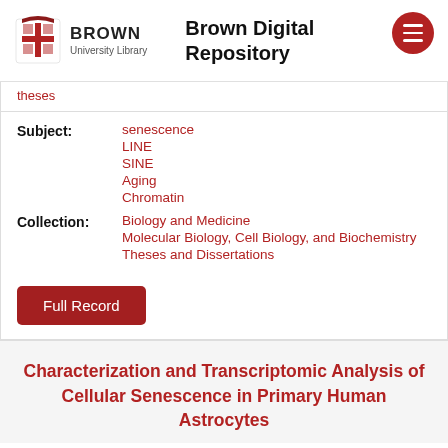Brown University Library — Brown Digital Repository
theses
Subject: senescence, LINE, SINE, Aging, Chromatin
Collection: Biology and Medicine, Molecular Biology, Cell Biology, and Biochemistry, Theses and Dissertations
Full Record
Characterization and Transcriptomic Analysis of Cellular Senescence in Primary Human Astrocytes